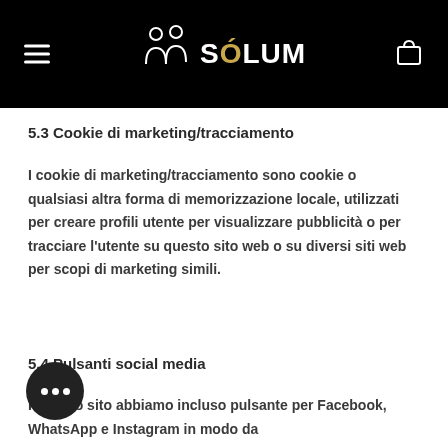SOLUM
5.3 Cookie di marketing/tracciamento
I cookie di marketing/tracciamento sono cookie o qualsiasi altra forma di memorizzazione locale, utilizzati per creare profili utente per visualizzare pubblicità o per tracciare l'utente su questo sito web o su diversi siti web per scopi di marketing simili.
5.4 Pulsanti social media
Il nostro sito abbiamo incluso pulsante per Facebook, WhatsApp e Instagram in modo da